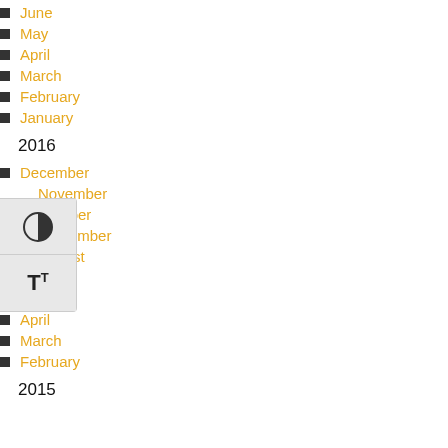June
May
April
March
February
January
2016
December
November
October
September
August
July
May
April
March
February
2015